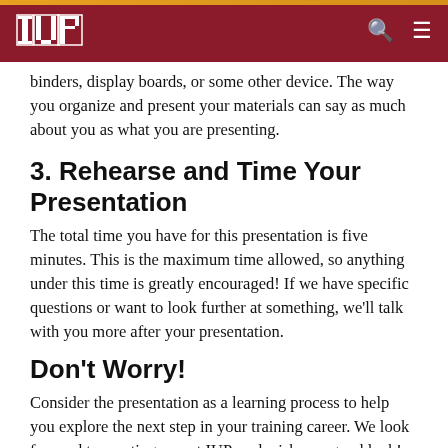IUP
binders, display boards, or some other device. The way you organize and present your materials can say as much about you as what you are presenting.
3. Rehearse and Time Your Presentation
The total time you have for this presentation is five minutes. This is the maximum time allowed, so anything under this time is greatly encouraged! If we have specific questions or want to look further at something, we'll talk with you more after your presentation.
Don't Worry!
Consider the presentation as a learning process to help you explore the next step in your training career. We look forward to meeting you at IUP, and wish you good luck!